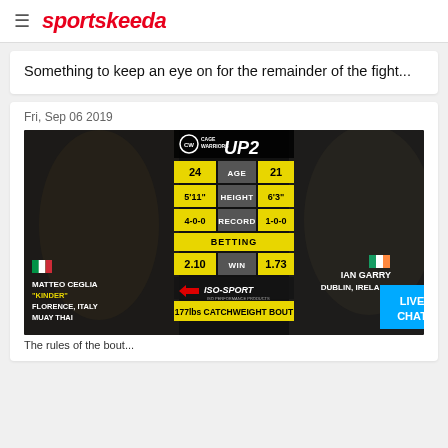sportskeeda
Something to keep an eye on for the remainder of the fight...
Fri, Sep 06 2019
[Figure (infographic): Cage Warriors UP2 fight card graphic showing Matteo Ceglia 'Kinder' from Florence, Italy vs Ian Garry from Dublin, Ireland. Stats: Age 24 vs 21, Height 5'11" vs 6'3", Record 4-0-0 vs 1-0-0, Betting Win 2.10 vs 1.73. ISO-SPORT sponsor. 177lbs Catchweight Bout.]
The rules of the bout...